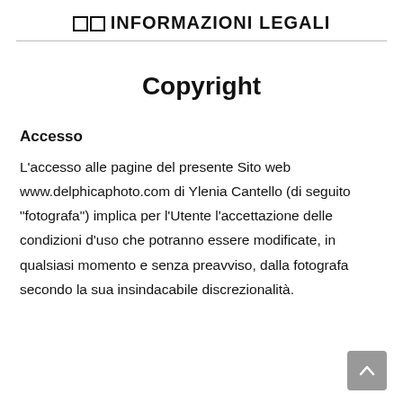☐☐ INFORMAZIONI LEGALI
Copyright
Accesso
L'accesso alle pagine del presente Sito web www.delphicaphoto.com di Ylenia Cantello (di seguito "fotografa") implica per l'Utente l'accettazione delle condizioni d'uso che potranno essere modificate, in qualsiasi momento e senza preavviso, dalla fotografa secondo la sua insindacabile discrezionalità.